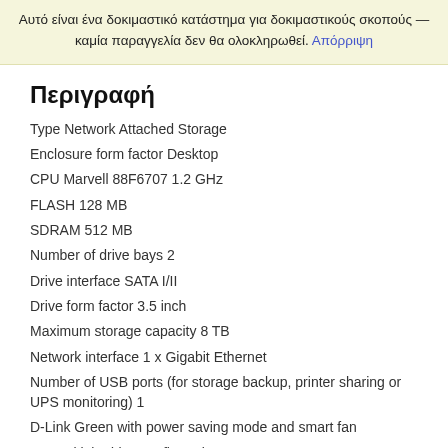Αυτό είναι ένα δοκιμαστικό κατάστημα για δοκιμαστικούς σκοπούς — καμία παραγγελία δεν θα ολοκληρωθεί. Απόρριψη
Περιγραφή
Type Network Attached Storage
Enclosure form factor Desktop
CPU Marvell 88F6707 1.2 GHz
FLASH 128 MB
SDRAM 512 MB
Number of drive bays 2
Drive interface SATA I/II
Drive form factor 3.5 inch
Maximum storage capacity 8 TB
Network interface 1 x Gigabit Ethernet
Number of USB ports (for storage backup, printer sharing or UPS monitoring) 1
D-Link Green with power saving mode and smart fan
Multiple drive configuration
JBOD
RAID 0/1